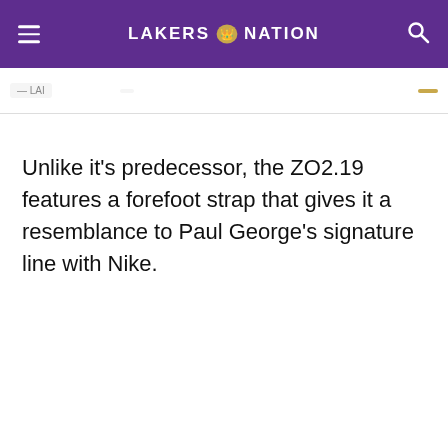LAKERS NATION
Unlike it's predecessor, the ZO2.19 features a forefoot strap that gives it a resemblance to Paul George's signature line with Nike.